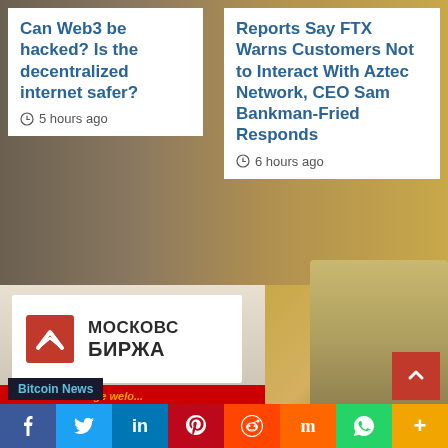Can Web3 be hacked? Is the decentralized internet safer?
5 hours ago
Reports Say FTX Warns Customers Not to Interact With Aztec Network, CEO Sam Bankman-Fried Responds
6 hours ago
[Figure (photo): Moscow Exchange (Московская Биржа) sign with red logo and ticker display reading 'Moscow Exchange wel...']
[Figure (photo): Bitcoin gold coins and US dollar bills background]
Bitcoin News
f  Twitter  in  Pinterest  Reddit  Mix  WhatsApp  +